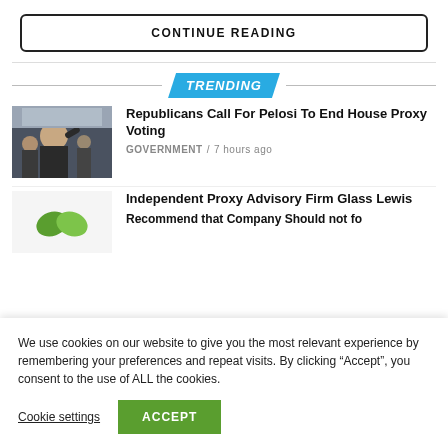CONTINUE READING
TRENDING
[Figure (photo): Man in suit gesturing at a public event, crowd behind him]
Republicans Call For Pelosi To End House Proxy Voting
GOVERNMENT / 7 hours ago
[Figure (logo): Green leaf logo mark]
Independent Proxy Advisory Firm Glass Lewis Re...
We use cookies on our website to give you the most relevant experience by remembering your preferences and repeat visits. By clicking “Accept”, you consent to the use of ALL the cookies.
Cookie settings
ACCEPT